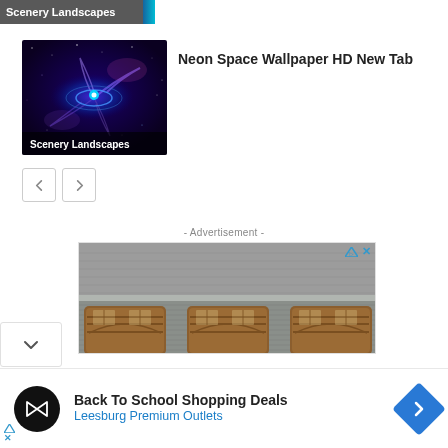[Figure (screenshot): Top strip banner with text 'Scenery Landscapes' on dark background with teal accent]
[Figure (photo): Thumbnail image of purple/blue neon galaxy spiral in space with 'Scenery Landscapes' label overlay]
Neon Space Wallpaper HD New Tab
[Figure (screenshot): Navigation buttons: left arrow and right arrow in square bordered buttons]
- Advertisement -
[Figure (photo): Advertisement image showing house exterior with triple garage doors (wooden arched doors) and gray siding]
[Figure (screenshot): Bottom advertisement bar with circular black logo, 'Back To School Shopping Deals' text, 'Leesburg Premium Outlets' link, and blue diamond navigation icon]